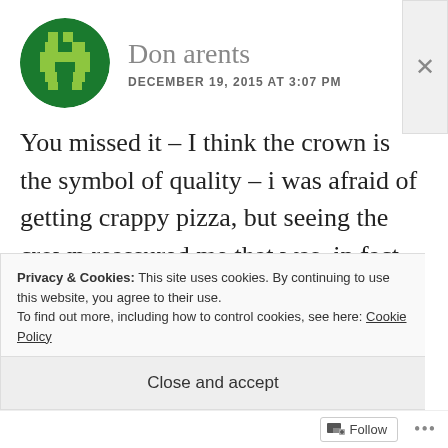[Figure (illustration): Circular avatar with dark green background and pixel-art style light green character/icon in the center]
Don arents
DECEMBER 19, 2015 AT 3:07 PM
You missed it – I think the crown is the symbol of quality – i was afraid of getting crappy pizza, but seeing the crown reassured me that was, in fact, not going to be the case!
Privacy & Cookies: This site uses cookies. By continuing to use this website, you agree to their use.
To find out more, including how to control cookies, see here: Cookie Policy
Close and accept